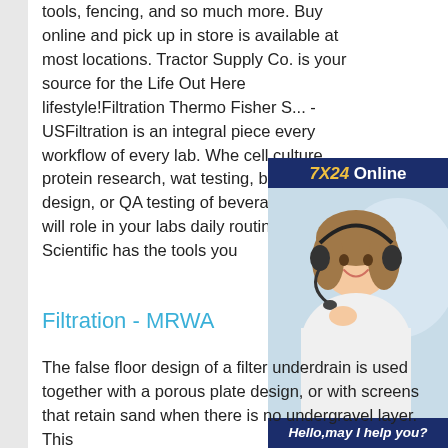tools, fencing, and so much more. Buy online and pick up in store is available at most locations. Tractor Supply Co. is your source for the Life Out Here lifestyle!Filtration Thermo Fisher S... - USFiltration is an integral piece every workflow of every lab. Whe cell culture, protein research, wat testing, bioprocess design, or QA testing of beverages filtration will role in your labs daily routine and Fisher Scientific has the tools you
[Figure (infographic): Customer service advertisement banner with dark blue background, showing '7X24 Online' in gold/white text at top, a photo of a smiling woman wearing a headset, and 'Hello, may I help you?' text with a 'Get Latest Price' yellow button at the bottom.]
Filtration - MRWA
The false floor design of a filter underdrain is used together with a porous plate design, or with screens that retain sand when there is no undergravel layer. This type of underdrain allows the...